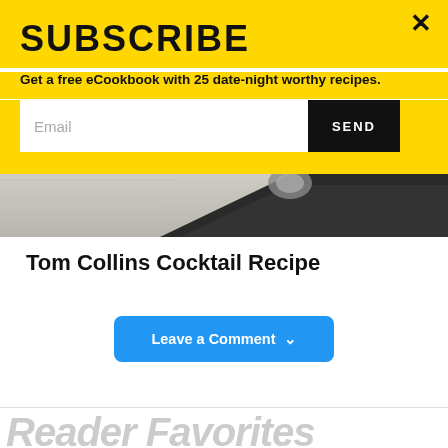SUBSCRIBE
Get a free eCookbook with 25 date-night worthy recipes.
[Figure (screenshot): Email input field with SEND button on yellow background, and a close X button in the top right corner]
[Figure (photo): Partial photo of a dark leather-bound object on a light wooden surface with a metallic element visible]
Tom Collins Cocktail Recipe
Leave a Comment ∨
Reader Favorites